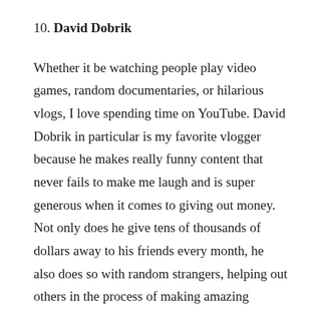10. David Dobrik
Whether it be watching people play video games, random documentaries, or hilarious vlogs, I love spending time on YouTube. David Dobrik in particular is my favorite vlogger because he makes really funny content that never fails to make me laugh and is super generous when it comes to giving out money. Not only does he give tens of thousands of dollars away to his friends every month, he also does so with random strangers, helping out others in the process of making amazing content